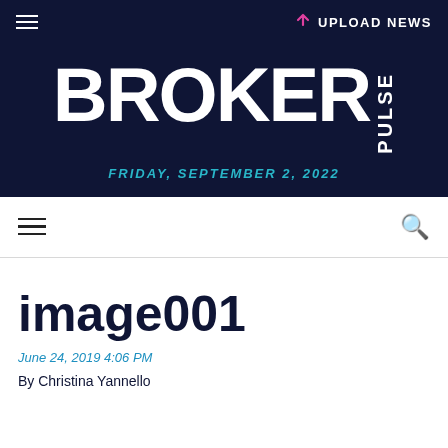UPLOAD NEWS
[Figure (logo): BROKER PULSE logo in white text on dark navy background]
FRIDAY, SEPTEMBER 2, 2022
menu and search navigation bar
image001
June 24, 2019 4:06 PM
By Christina Yannello